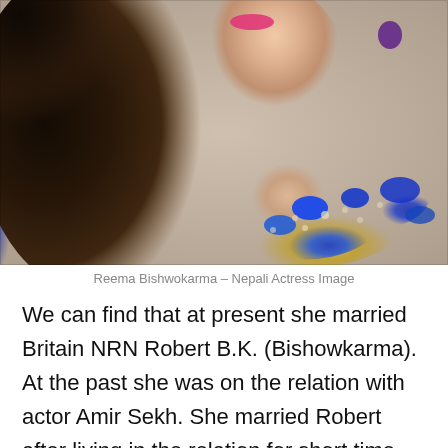[Figure (photo): Close-up photo of Reema Bishwokarma, a Nepali actress, showing her face partially with pink lipstick, long dark brown hair, and an ornate blue and gold embroidered neckline on her outfit.]
Reema Bishwokarma – Nepali Actress Image
We can find that at present she married Britain NRN Robert B.K. (Bishowkarma). At the past she was on the relation with actor Amir Sekh. She married Robert after living in the relation for short time period with